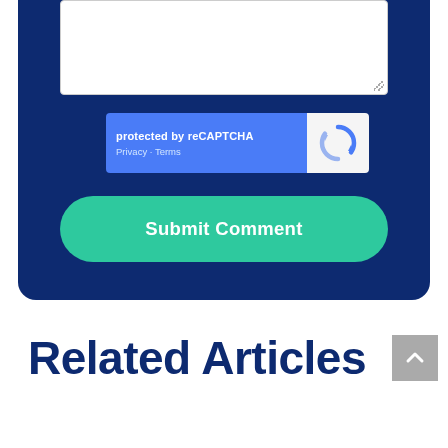[Figure (screenshot): Bottom of a comment form on a dark blue background. Contains a white textarea input box, a reCAPTCHA widget showing 'protected by reCAPTCHA' with Privacy and Terms links and the reCAPTCHA logo, and a teal 'Submit Comment' button with rounded corners.]
Related Articles
[Figure (other): Gray scroll-to-top button with an upward-pointing chevron arrow icon]